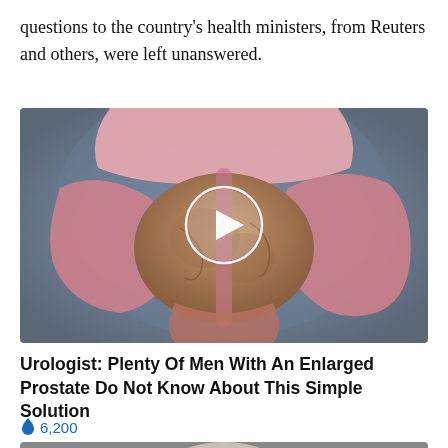questions to the country's health ministers, from Reuters and others, were left unanswered.
[Figure (illustration): Medical illustration of an enlarged prostate gland with a play button overlay, showing anatomical cross-section view. The image has a bluish-grey background with pink anatomical structures.]
Urologist: Plenty Of Men With An Enlarged Prostate Do Not Know About This Simple Solution
🔥 6,200
[Figure (photo): Partial view of a person's face, bottom portion of page cut off.]